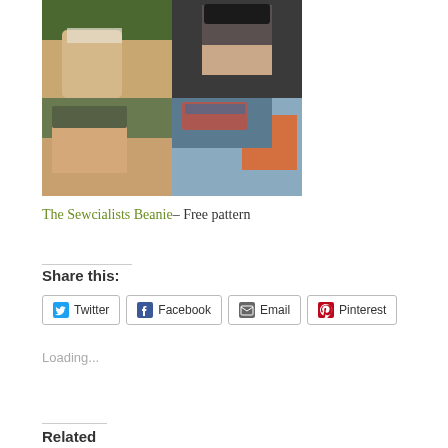[Figure (photo): 2x2 grid of photos showing people wearing knit beanies/hats in various styles and colors]
The Sewcialists Beanie– Free pattern
Share this:
Twitter  Facebook  Email  Pinterest
Loading...
Related